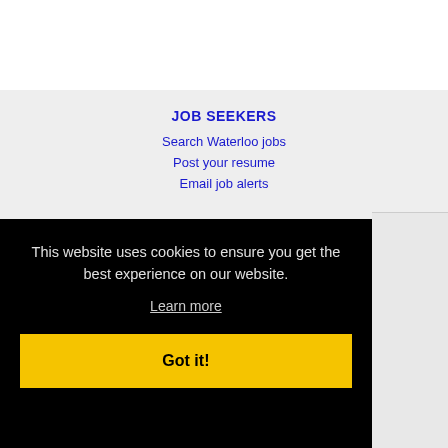JOB SEEKERS
Search Waterloo jobs
Post your resume
Email job alerts
This website uses cookies to ensure you get the best experience on our website.
Learn more
Got it!